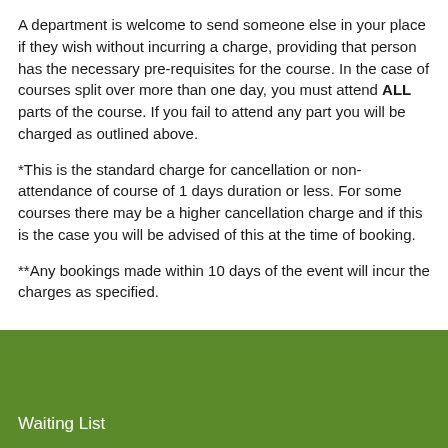A department is welcome to send someone else in your place if they wish without incurring a charge, providing that person has the necessary pre-requisites for the course. In the case of courses split over more than one day, you must attend ALL parts of the course. If you fail to attend any part you will be charged as outlined above.
*This is the standard charge for cancellation or non-attendance of course of 1 days duration or less. For some courses there may be a higher cancellation charge and if this is the case you will be advised of this at the time of booking.
**Any bookings made within 10 days of the event will incur the charges as specified.
Waiting List